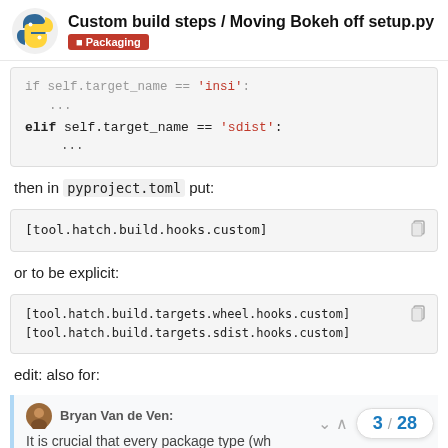Custom build steps / Moving Bokeh off setup.py — Packaging
[Figure (screenshot): Code block showing Python elif self.target_name == 'sdist': with ellipsis lines]
then in pyproject.toml put:
[Figure (screenshot): Code block: [tool.hatch.build.hooks.custom]]
or to be explicit:
[Figure (screenshot): Code block: [tool.hatch.build.targets.wheel.hooks.custom]
[tool.hatch.build.targets.sdist.hooks.custom]]
edit: also for:
Bryan Van de Ven:
It is crucial that every package type (wh
3 / 28